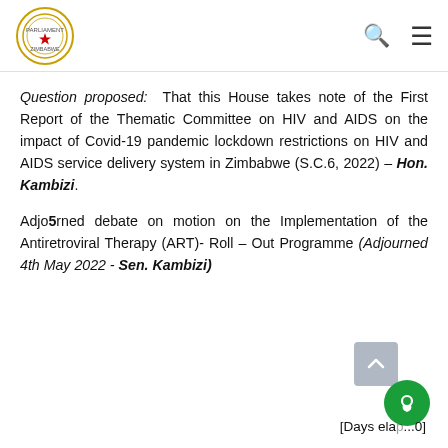Parliament of Zimbabwe logo with navigation icons
Question proposed: That this House takes note of the First Report of the Thematic Committee on HIV and AIDS on the impact of Covid-19 pandemic lockdown restrictions on HIV and AIDS service delivery system in Zimbabwe (S.C.6, 2022) – Hon. Kambizi.
Adjourned debate on motion on the Implementation of the Antiretroviral Therapy (ART)- Roll – Out Programme (Adjourned 4th May 2022 - Sen. Kambizi)
[Days elap...0]